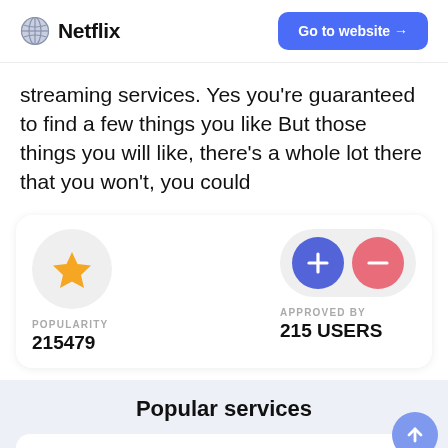Netflix  Go to website →
streaming services. Yes you're guaranteed to find a few things you like But those things you will like, there's a whole lot there that you won't, you could
[Figure (infographic): Stats card with two sections: POPULARITY 215479 (star icon in circle) and APPROVED BY 215 USERS (plus and minus circles in row)]
Popular services
[Figure (infographic): Indeed service card with link icon and name Indeed, subtitle partially visible, and blue up-arrow circle button]